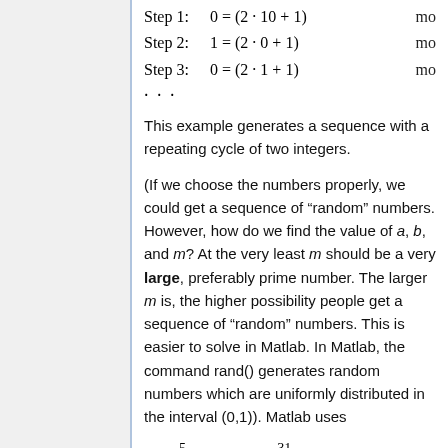...
This example generates a sequence with a repeating cycle of two integers.
(If we choose the numbers properly, we could get a sequence of "random" numbers. However, how do we find the value of a, b, and m? At the very least m should be a very large, preferably prime number. The larger m is, the higher possibility people get a sequence of "random" numbers. This is easier to solve in Matlab. In Matlab, the command rand() generates random numbers which are uniformly distributed in the interval (0,1)). Matlab uses